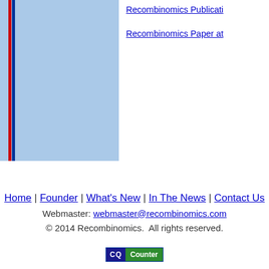[Figure (other): Blue rectangular panel with red and blue vertical border lines on the left side]
Recombinomics Publicati...
Recombinomics Paper at...
Home | Founder | What's New | In The News | Contact Us
Webmaster: webmaster@recombinomics.com
© 2014 Recombinomics.  All rights reserved.
[Figure (logo): CQ Counter badge with blue and green sections]